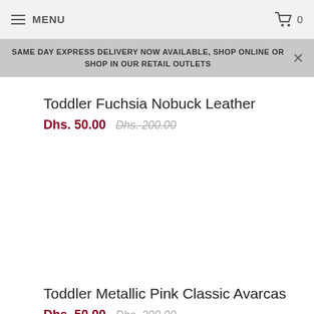MENU  0
SAME DAY EXPRESS DELIVERY NOW AVAILABLE, SHOP ONLINE OR SHOP IN OUR RETAIL OUTLETS
Toddler Fuchsia Nobuck Leather
Dhs. 50.00  Dhs. 200.00
Toddler Metallic Pink Classic Avarcas
Dhs. 50.00  Dhs. 200.00